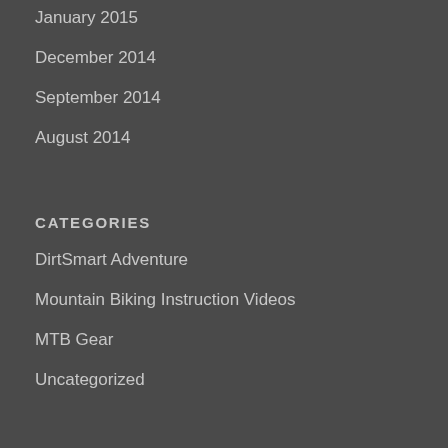January 2015
December 2014
September 2014
August 2014
CATEGORIES
DirtSmart Adventure
Mountain Biking Instruction Videos
MTB Gear
Uncategorized
PAGES
2022 Camp Schedule
Andy's Bikes and Gear